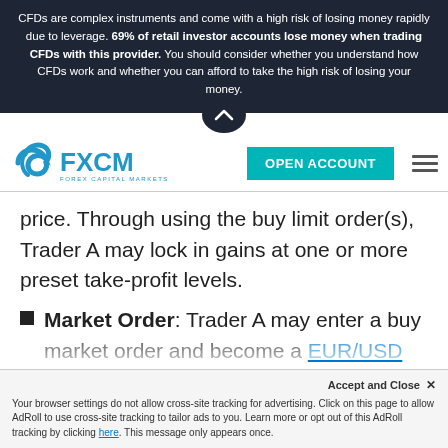CFDs are complex instruments and come with a high risk of losing money rapidly due to leverage. 69% of retail investor accounts lose money when trading CFDs with this provider. You should consider whether you understand how CFDs work and whether you can afford to take the high risk of losing your money.
[Figure (logo): FXCM Forex Capital Markets logo with teal swirl icon]
OPEN ACCOUNT
price. Through using the buy limit order(s), Trader A may lock in gains at one or more preset take-profit levels.
Market Order: Trader A may enter a buy market order and become a EUR/USD profit taker beneath 1.0700. Upon an acceptable price being reached, Trader A can immediately close out
Accept and Close ✕
Your browser settings do not allow cross-site tracking for advertising. Click on this page to allow AdRoll to use cross-site tracking to tailor ads to you. Learn more or opt out of this AdRoll tracking by clicking here. This message only appears once.